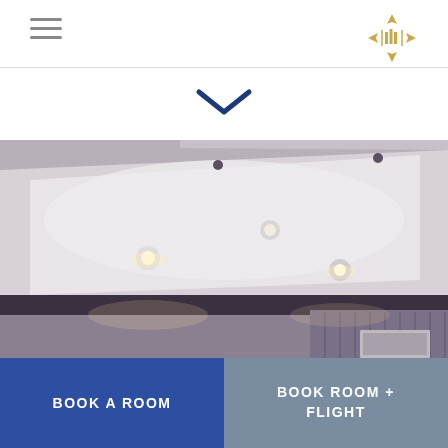Navigation bar with hamburger menu and hotel logo
[Figure (illustration): Downward-pointing chevron/arrow icon in navy blue, indicating scroll down]
[Figure (photo): Interior hotel room photo showing a white ceiling with recessed spotlights, a wall with decorative panel, and ambient warm lighting. Dark ceiling trim separates the white ceiling from beige walls.]
BOOK A ROOM
BOOK ROOM + FLIGHT